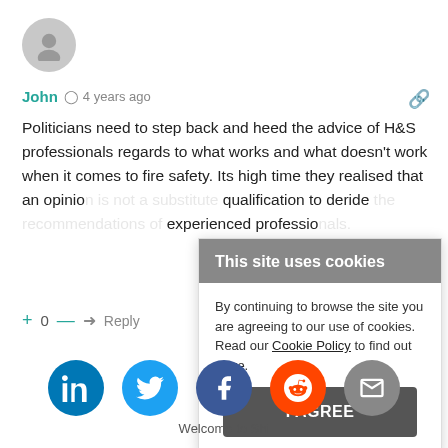[Figure (illustration): Circular grey avatar/user icon]
John  4 years ago
Politicians need to step back and heed the advice of H&S professionals regards to what works and what doesn't work when it comes to fire safety. Its high time they realised that an opinion is not a substitute qualification to deride the recommendations of experienced professionals.
+ 0 —  Reply
This site uses cookies
By continuing to browse the site you are agreeing to our use of cookies. Read our Cookie Policy to find out more.
I AGREE
Welcome to Shi